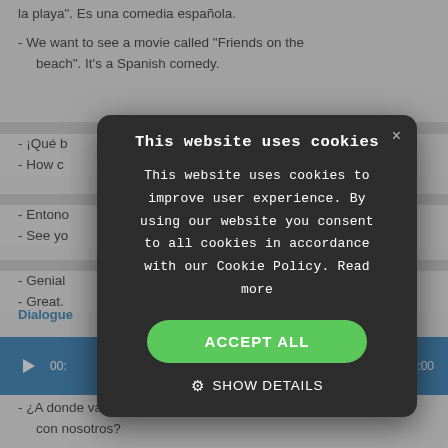la playa". Es una comedia española.
- We want to see a movie called "Friends on the beach". It's a Spanish comedy.
- ¡Qué b[uen plan]!
- How c[ool]!
- Entono[nces...]
- See yo[u...]
- Genial[...]
- Great.
Dialogue
[Figure (screenshot): Cookie consent dialog box with dark background. Title: 'This website uses cookies'. Body text: 'This website uses cookies to improve user experience. By using our website you consent to all cookies in accordance with our Cookie Policy. Read more'. Green 'ACCEPT ALL' button. 'SHOW DETAILS' option with gear icon.]
- ¿A donde vas, Paco? ¿No quieres ir a la cafetería con nosotros?